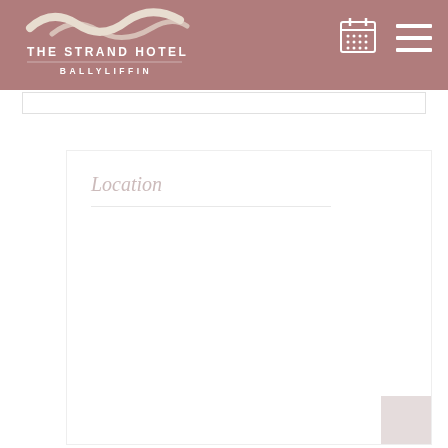[Figure (logo): The Strand Hotel Ballyliffin logo with wave graphic and white text on mauve/pink background]
[Figure (other): Calendar icon (grid of dots) in white on mauve background]
[Figure (other): Hamburger menu icon (three horizontal lines) in white on mauve background]
Location